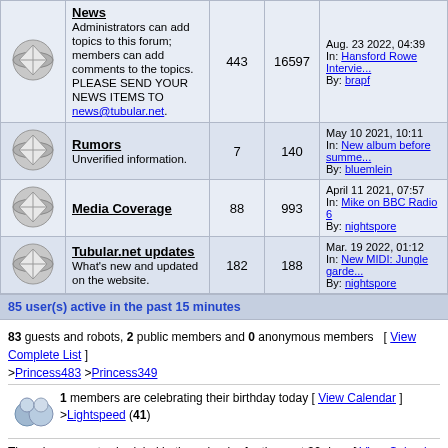|  | Forum | Topics | Posts | Last Post |
| --- | --- | --- | --- | --- |
| [icon] | News
Administrators can add topics to this forum; members can add comments to the topics. PLEASE SEND YOUR NEWS ITEMS TO news@tubular.net. | 443 | 16597 | Aug. 23 2022, 04:39
In: Hansford Rowe Intervie...
By: brapf |
| [icon] | Rumors
Unverified information. | 7 | 140 | May 10 2021, 10:11
In: New album before summe...
By: bluemlein |
| [icon] | Media Coverage | 88 | 993 | April 11 2021, 07:57
In: Mike on BBC Radio 6
By: nightspore |
| [icon] | Tubular.net updates
What's new and updated on the website. | 182 | 188 | Mar. 19 2022, 01:12
In: New MIDI: Jungle garde...
By: nightspore |
85 user(s) active in the past 15 minutes
83 guests and robots, 2 public members and 0 anonymous members  [ View Complete List ]
>Princess483 >Princess349
1 members are celebrating their birthday today [ View Calendar ]
>Lightspeed (41)
There is no event scheduled in the calendar for the next 30 days [ View Calendar ]